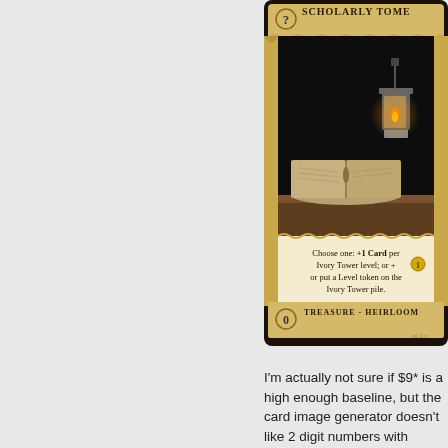[Figure (illustration): A game card titled 'Scholarly Tome' showing an open book with a lantern on a dark background. Card text reads: 'Choose one: +1 Card per Ivory Tower level; or + 1 or put a Level token on the Ivory Tower pile.' Bottom label: 'Treasure - Heirloom', cost 0. Version v0.1]
I'm actually not sure if $9* is a high enough baseline, but the card image generator doesn't like 2 digit numbers with